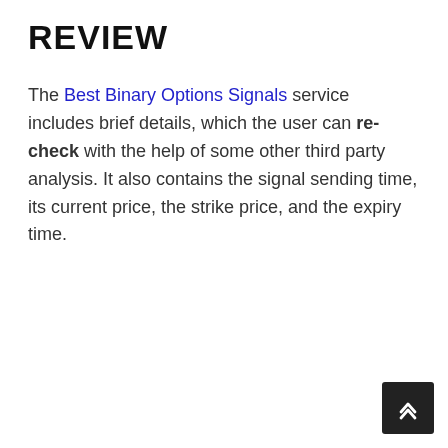REVIEW
The Best Binary Options Signals service includes brief details, which the user can re-check with the help of some other third party analysis. It also contains the signal sending time, its current price, the strike price, and the expiry time.